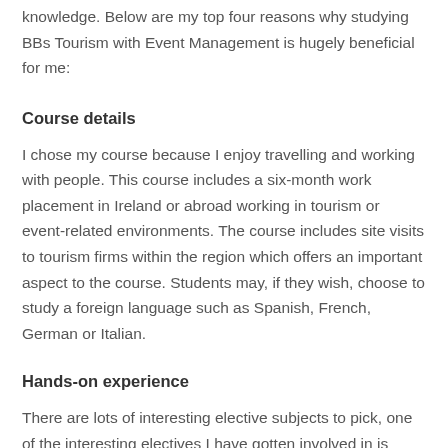knowledge. Below are my top four reasons why studying BBs Tourism with Event Management is hugely beneficial for me:
Course details
I chose my course because I enjoy travelling and working with people. This course includes a six-month work placement in Ireland or abroad working in tourism or event-related environments. The course includes site visits to tourism firms within the region which offers an important aspect to the course. Students may, if they wish, choose to study a foreign language such as Spanish, French, German or Italian.
Hands-on experience
There are lots of interesting elective subjects to pick, one of the interesting electives I have gotten involved in is “Introduction to Archaeology”. Students are able